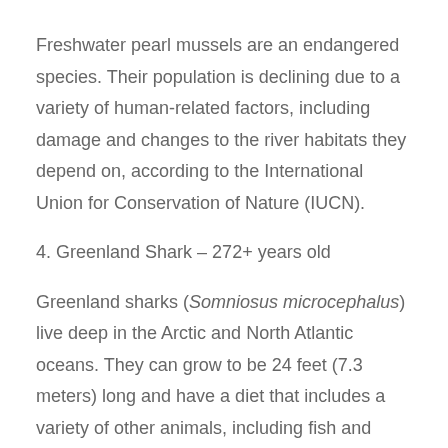Freshwater pearl mussels are an endangered species. Their population is declining due to a variety of human-related factors, including damage and changes to the river habitats they depend on, according to the International Union for Conservation of Nature (IUCN).
4. Greenland Shark – 272+ years old
Greenland sharks (Somniosus microcephalus) live deep in the Arctic and North Atlantic oceans. They can grow to be 24 feet (7.3 meters) long and have a diet that includes a variety of other animals, including fish and marine mammals such as seals